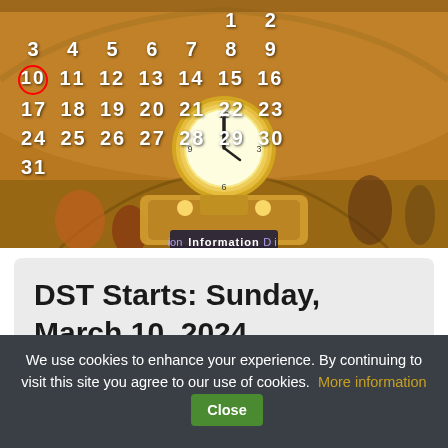[Figure (photo): Photo of Grand Central Terminal's famous golden information booth clock, with people moving around it in a blurred motion. Text overlaid shows a March 2024 calendar with the 10th circled in red. Signs visible include 'DINING CONCOURSE' and 'Information'.]
DST Starts: Sunday, March 10, 2024
We use cookies to enhance your experience. By continuing to visit this site you agree to our use of cookies. More information Close